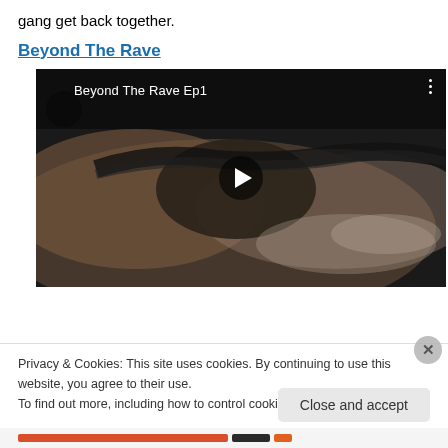gang get back together.
Beyond The Rave
[Figure (screenshot): Embedded video player showing 'Beyond The Rave Ep1' with a close-up eye image as thumbnail and a play button in the center.]
Privacy & Cookies: This site uses cookies. By continuing to use this website, you agree to their use.
To find out more, including how to control cookies, see here: Cookie Policy
Close and accept